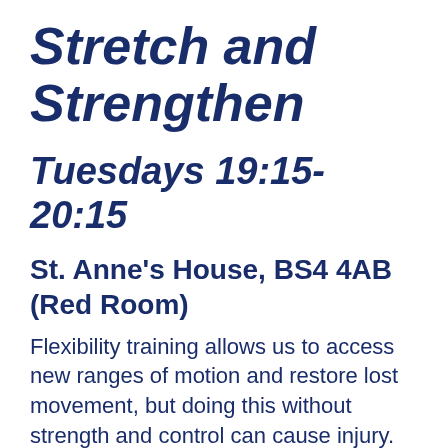Stretch and Strengthen
Tuesdays 19:15-20:15
St. Anne's House, BS4 4AB (Red Room)
Flexibility training allows us to access new ranges of motion and restore lost movement, but doing this without strength and control can cause injury.
In this class Isidora will lead us through movements aimed at restoring mobility